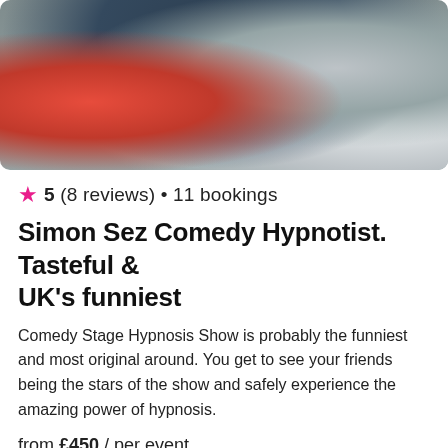[Figure (photo): Photo of people at a comedy hypnosis show, person in red dress and others leaning forward]
★ 5 (8 reviews) • 11 bookings
Simon Sez Comedy Hypnotist. Tasteful & UK's funniest
Comedy Stage Hypnosis Show is probably the funniest and most original around. You get to see your friends being the stars of the show and safely experience the amazing power of hypnosis.
from £450 / per event
[Figure (photo): Black and white photo of a man with text 'Welcome to the Show' in cursive overlay]